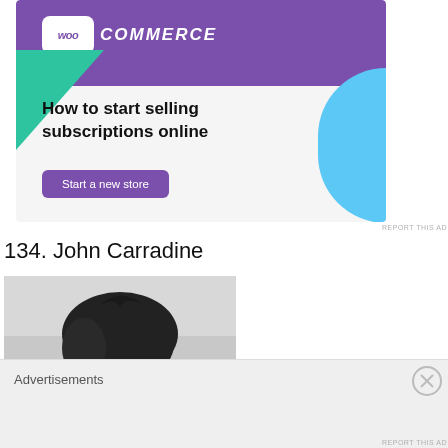[Figure (screenshot): WooCommerce advertisement banner with purple header, green triangle accent, blue curved shape, headline 'How to start selling subscriptions online', and a purple 'Start a new store' button]
REPORT THIS AD
134. John Carradine
[Figure (photo): Black and white portrait photograph of John Carradine showing head and shoulders]
Advertisements
REPORT THIS AD